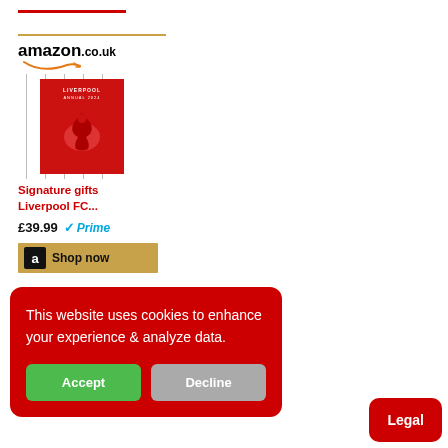[Figure (screenshot): Amazon.co.uk product widget showing 'Signature gifts Liverpool FC...' priced at £39.99 with Prime badge and Shop now button. Red book cover product image displayed.]
Signature gifts Liverpool FC...
£39.99  Prime
Shop now
This website uses cookies to enhance your experience & analyze data.
Accept
Decline
Legal